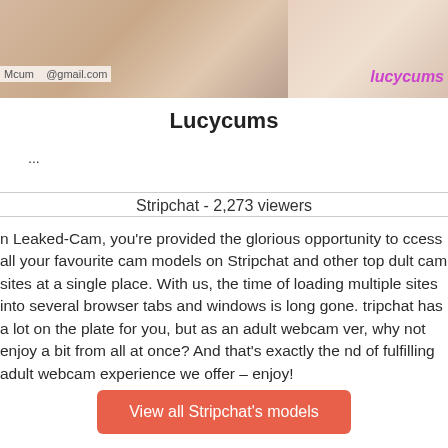[Figure (photo): Banner photo showing two people on a bed, with email overlay text on the left and 'lucycums' text in pink/purple on the right]
Lucycums
...
Stripchat - 2,273 viewers
n Leaked-Cam, you're provided the glorious opportunity to ccess all your favourite cam models on Stripchat and other top dult cam sites at a single place. With us, the time of loading multiple sites into several browser tabs and windows is long gone. tripchat has a lot on the plate for you, but as an adult webcam ver, why not enjoy a bit from all at once? And that's exactly the nd of fulfilling adult webcam experience we offer – enjoy!
View all Stripchat's models